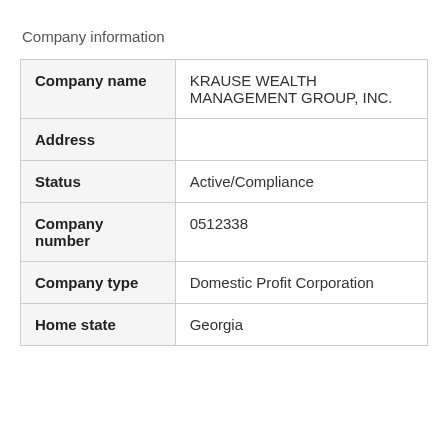Company information
| Field | Value |
| --- | --- |
| Company name | KRAUSE WEALTH MANAGEMENT GROUP, INC. |
| Address |  |
| Status | Active/Compliance |
| Company number | 0512338 |
| Company type | Domestic Profit Corporation |
| Home state | Georgia |